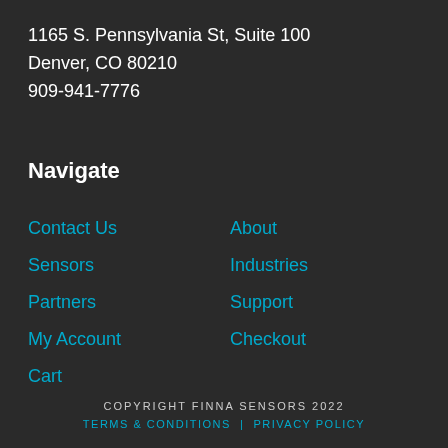1165 S. Pennsylvania St, Suite 100
Denver, CO 80210
909-941-7776
Navigate
Contact Us
Sensors
Partners
My Account
Cart
About
Industries
Support
Checkout
COPYRIGHT FINNA SENSORS 2022
TERMS & CONDITIONS | PRIVACY POLICY